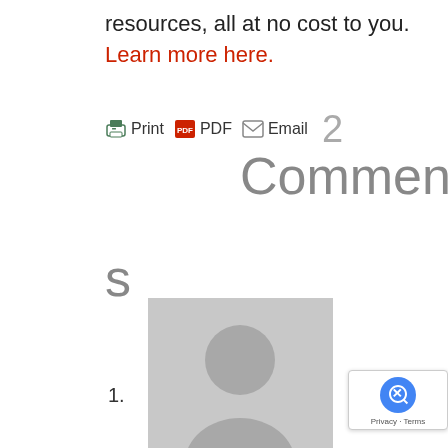resources, all at no cost to you. Learn more here.
Print  PDF  Email  2 Comments
2 Comments
1. Toni Benson on July 26, 2021 at 3:47 pm
I applied for a job here. The job posting was sent to me by my career counselor at WFS. I was not hired! I have been looking for a job going on 1.5 yrs thru WFS.
It is disappointing that for the yr...